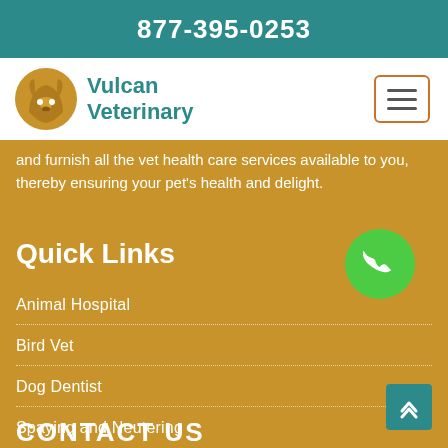877-395-0253
[Figure (logo): Vulcan Veterinary logo: circular dog/cat silhouette in gold/amber color with teal text 'Vulcan Veterinary']
and furnish all the vet health care services available to you, thereby ensuring your pet's health and delight.
Quick Links
Animal Hospital
Bird Vet
Dog Dentist
Spaying and Neutering
CONTACT US